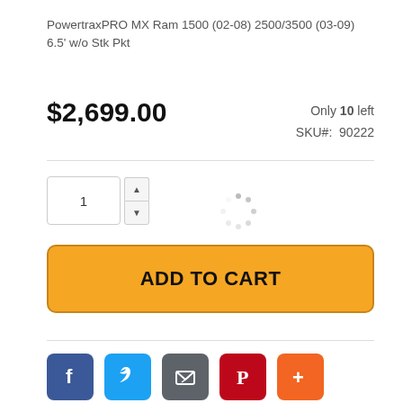PowertraxPRO MX Ram 1500 (02-08) 2500/3500 (03-09) 6.5' w/o Stk Pkt
$2,699.00
Only 10 left
SKU#: 90222
ADD TO CART
[Figure (infographic): Social sharing icons: Facebook (blue), Twitter (light blue), Email/Share (grey), Pinterest (red), More (orange)]